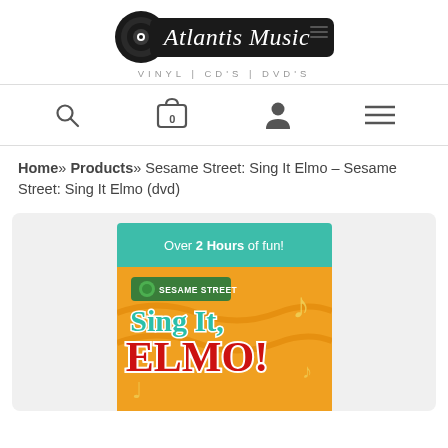[Figure (logo): Atlantis Music logo with vinyl record graphic and text 'Atlantis Music VINYL | CD'S | DVD'S']
[Figure (infographic): Navigation bar with search icon, shopping cart (0 items), user icon, and hamburger menu icon]
Home» Products» Sesame Street: Sing It Elmo – Sesame Street: Sing It Elmo (dvd)
[Figure (photo): DVD cover for Sesame Street: Sing It Elmo! showing 'Over 2 Hours of fun!' on a teal banner, Sesame Street logo, and 'Sing It, ELMO!' title text on an orange background with musical notes]